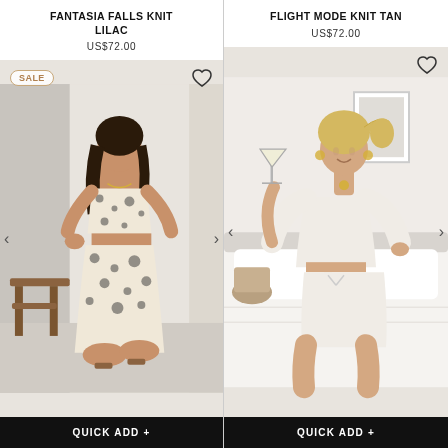FANTASIA FALLS KNIT LILAC
US$72.00
[Figure (photo): Model wearing a leopard print crop top and matching mini skirt, kneeling on the floor with a wooden stool in the background. SALE badge and heart icon visible.]
QUICK ADD +
FLIGHT MODE KNIT TAN
US$72.00
[Figure (photo): Blonde model sitting on a bed holding a cocktail glass, wearing a cream knit crop sweater and matching shorts. Heart icon visible.]
QUICK ADD +